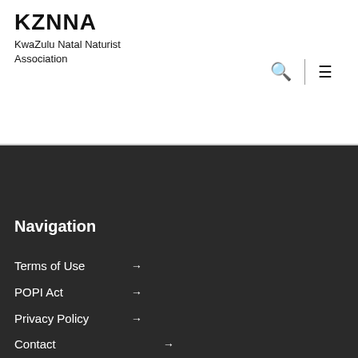KZNNA
KwaZulu Natal Naturist Association
Navigation
Terms of Use →
POPI Act →
Privacy Policy →
Contact →